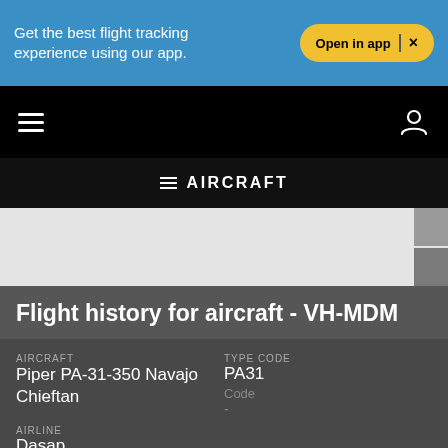Get the best flight tracking experience using our app.
Open in app  ×
[Figure (screenshot): Navigation bar with hamburger menu and user icon on black background]
≡ AIRCRAFT
[Figure (screenshot): Light gray map placeholder area with gray sidebar controls]
Flight history for aircraft - VH-MDM
| AIRCRAFT | TYPE CODE |
| --- | --- |
| Piper PA-31-350 Navajo Chieftan | PA31 |
| Code | Code |
| AIRLINE | - |
| Dasap | - |
| OPERATOR | MODE S |
| - | 7C3D38 |